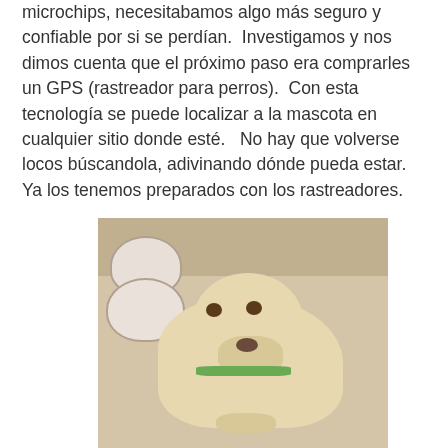microchips, necesitabamos algo más seguro y confiable por si se perdían.  Investigamos y nos dimos cuenta que el próximo paso era comprarles un GPS (rastreador para perros).  Con esta tecnología se puede localizar a la mascota en cualquier sitio donde esté.   No hay que volverse locos búscandola, adivinando dónde pueda estar.  Ya los tenemos preparados con los rastreadores.
[Figure (photo): A small light-colored dog lying on the floor next to two ceramic bowls, looking at the camera with a green collar, photographed indoors.]